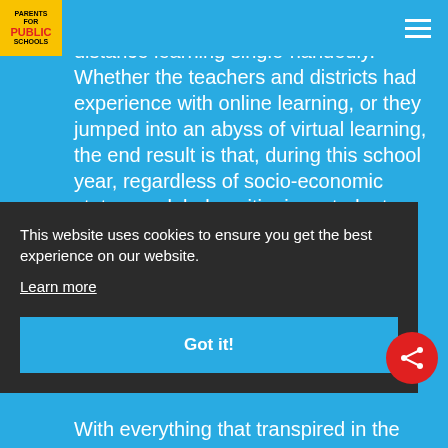Parents for Public Schools
most students have traveled this road of distance learning single-handedly. Whether the teachers and districts had experience with online learning, or they jumped into an abyss of virtual learning, the end result is that, during this school year, regardless of socio-economic status or global positioning, student learning was impacted greatly by COVID-19. The
This website uses cookies to ensure you get the best experience on our website.
Learn more
Got it!
With everything that transpired in the